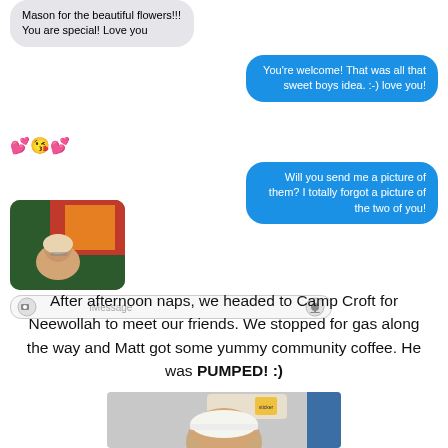Mason for the beautiful flowers!!! You are special! Love you
You're welcome! That was all that sweet boys idea. :-) love you!
💕😘💕
Will you send me a picture of them? I totally forgot a picture of the two of you!
[Figure (photo): A photo showing a person with blonde hair in a car or indoor setting with a red/orange artwork in the background]
[Figure (screenshot): iMessage input bar with camera icon, iMessage text field, and microphone icon]
After afternoon naps, we headed to Camp Croft for Neewollah to meet our friends. We stopped for gas along the way and Matt got some yummy community coffee. He was PUMPED! :)
[Figure (photo): A person wearing a white baseball cap sitting in a car, a yellow sticker visible on the sun visor]